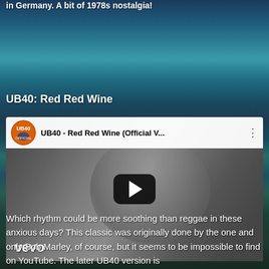in Germany. A bit of 1978s nostalgia!
UB40: Red Red Wine
[Figure (screenshot): YouTube video thumbnail for UB40 - Red Red Wine (Official V...) showing a black and white image of a young man, with the UB40 logo, video title, play button overlay, and Vevo watermark.]
Which rhythm could be more soothing than reggae in these anxious days? This classic was originally done by the one and only Bob Marley, of course, but it seems to be impossible to find on YouTube. The later UB40 version is